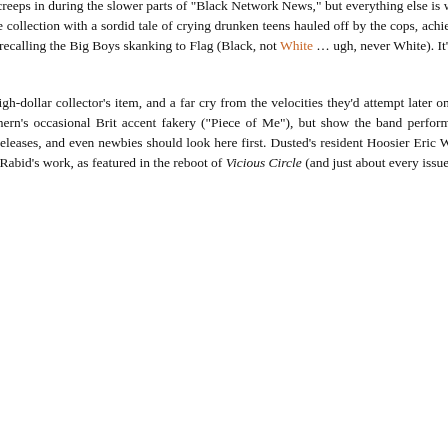Vicious Circle's overall tidiness held back. A bit of a UK peacepunk vibe creeps in during the slower parts of "Black Network News," but everything else is way more wired and amped-up, intense and memorable in a way the LP can't quite conjure. "Drive In," leading off the collection with a sordid tale of crying drunken teens hauled off by the cops, achieves the menacing tone the band seemed to be searching for all along. "Inergy" leans on a mean, lean mid-tempo riff, recalling the Big Boys skanking to Flag (Black, not White … ugh, never White). It's great hearing their influences gelling into a more rockin' sound they could call their own.
Capping off the collection are the tracks from Livin' in the '80s, now a high-dollar collector's item, and a far cry from the velocities they'd attempt later on. These are great UK/Ramones-influenced pop/punk tracks, dingy with low production value and besotted by Mahern's occasional Brit accent fakery ("Piece of Me"), but show the band performing in a vein not too far off from fellow Midwesterners the Embarrassment. This is the more exciting of the two releases, and even newbies should look here first. Dusted's resident Hoosier Eric Weddle authored the action-packed liners in this edition, and his words don't have the false, enthusiastic boom of Jack Rabid's work, as featured in the reboot of Vicious Circle (and just about every issue of The Big Takeover).